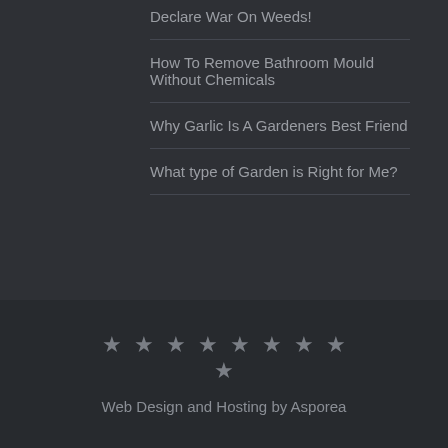Declare War On Weeds!
How To Remove Bathroom Mould Without Chemicals
Why Garlic Is A Gardeners Best Friend
What type of Garden is Right for Me?
[Figure (other): Nine decorative star symbols arranged in two rows (8 stars on top row, 1 star centered on bottom row) in a dark footer area]
Web Design and Hosting by Asporea